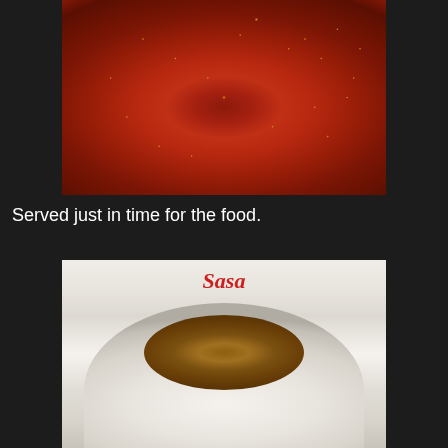[Figure (photo): Close-up photo of sambal or chili paste with visible chili seeds and pieces on a white plate, red and dark colored sauce]
Served just in time for the food.
[Figure (photo): Photo of a mound of white steamed rice topped with fried shallots/onions in a white Sasa-branded bowl]